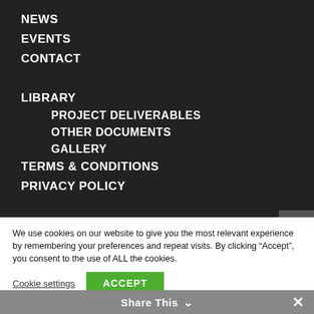NEWS
EVENTS
CONTACT
LIBRARY
PROJECT DELIVERABLES
OTHER DOCUMENTS
GALLERY
TERMS & CONDITIONS
PRIVACY POLICY
We use cookies on our website to give you the most relevant experience by remembering your preferences and repeat visits. By clicking “Accept”, you consent to the use of ALL the cookies.
Cookie settings   ACCEPT
Share This  ∨  ×